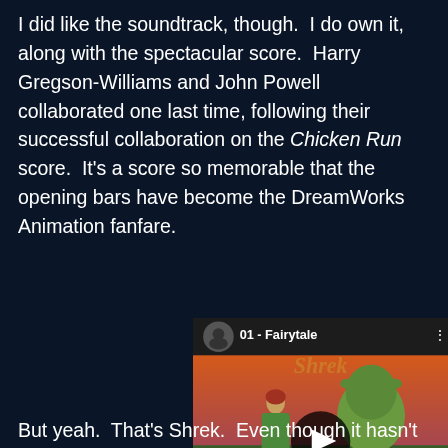I did like the soundtrack, though.  I do own it, along with the spectacular score.  Harry Gregson-Williams and John Powell collaborated one last time, following their successful collaboration on the Chicken Run score.  It's a score so memorable that the opening bars have become the DreamWorks Animation fanfare.
[Figure (screenshot): YouTube video thumbnail showing '01 - Fairytale' from the Shrek soundtrack, featuring animated characters Fiona and Shrek with a play button overlay. Bottom text shows 'Music by Harry Gregson-Williams and John Powell'.]
But yeah.  That's Shrek.  Even though it hasn't really stood